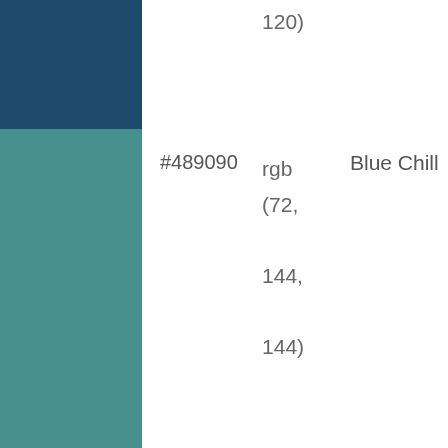| Color Swatch | Hex | RGB | Name |
| --- | --- | --- | --- |
| (dark blue) |  | 120) |  |
| (teal #489090) | #489090 | rgb (72, 144, 144) | Blue Chill |
| (cream #fff0c0) | #fff0c0 | rgb (255, 240, 192) | Crown Point Cream |
| (peach #ffd8a8) | #ffd8a8 | rgb (255, 216, | Peach Cider |